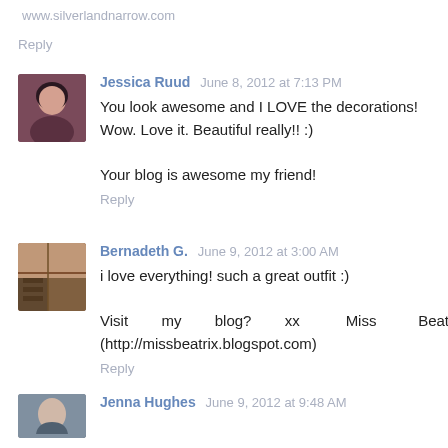www.silverlandnarrow.com
Reply
Jessica Ruud  June 8, 2012 at 7:13 PM
You look awesome and I LOVE the decorations! Wow. Love it. Beautiful really!! :)

Your blog is awesome my friend!
Reply
Bernadeth G.  June 9, 2012 at 3:00 AM
i love everything! such a great outfit :)
Visit my blog? xx Miss Beatrix (http://missbeatrix.blogspot.com)
Reply
Jenna Hughes  June 9, 2012 at 9:48 AM